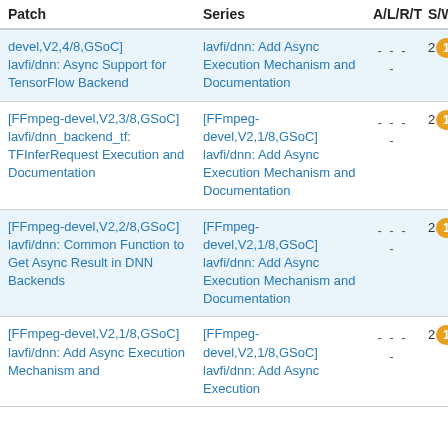| Patch | Series | A/L/R/T | S/W/ |
| --- | --- | --- | --- |
| devel,V2,4/8,GSoC] lavfi/dnn: Async Support for TensorFlow Backend | lavfi/dnn: Add Async Execution Mechanism and Documentation | - - - - | 2 1 |
| [FFmpeg-devel,V2,3/8,GSoC] lavfi/dnn_backend_tf: TFInferRequest Execution and Documentation | [FFmpeg-devel,V2,1/8,GSoC] lavfi/dnn: Add Async Execution Mechanism and Documentation | - - - - | 2 1 |
| [FFmpeg-devel,V2,2/8,GSoC] lavfi/dnn: Common Function to Get Async Result in DNN Backends | [FFmpeg-devel,V2,1/8,GSoC] lavfi/dnn: Add Async Execution Mechanism and Documentation | - - - - | 2 1 |
| [FFmpeg-devel,V2,1/8,GSoC] lavfi/dnn: Add Async Execution Mechanism and | [FFmpeg-devel,V2,1/8,GSoC] lavfi/dnn: Add Async Execution | - - - - | 2 1 |